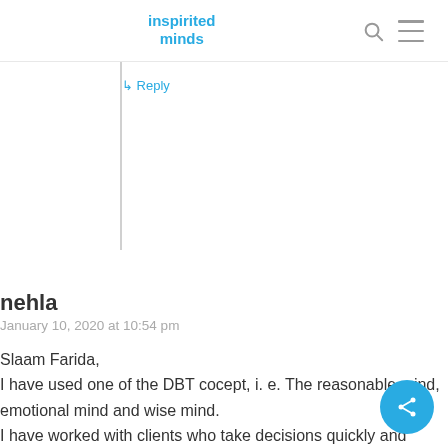inspirited minds
↳ Reply
nehla
January 10, 2020 at 10:54 pm
Slaam Farida,
I have used one of the DBT cocept, i. e. The reasonable mind, emotional mind and wise mind.
I have worked with clients who take decisions quickly and regret it later, also with clients who want to please other people, or want to be liked by other people, also for people who are unable to say 'no'.
I always talk about the pause button or having time out, whether for few minutes, hours or days. So if a person